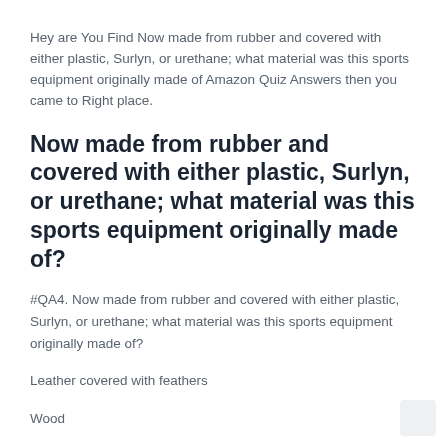Hey are You Find Now made from rubber and covered with either plastic, Surlyn, or urethane; what material was this sports equipment originally made of Amazon Quiz Answers then you came to Right place.
Now made from rubber and covered with either plastic, Surlyn, or urethane; what material was this sports equipment originally made of?
#QA4. Now made from rubber and covered with either plastic, Surlyn, or urethane; what material was this sports equipment originally made of?
Leather covered with feathers
Wood